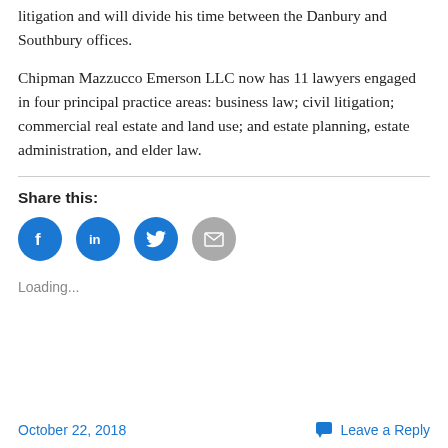litigation and will divide his time between the Danbury and Southbury offices.
Chipman Mazzucco Emerson LLC now has 11 lawyers engaged in four principal practice areas: business law; civil litigation; commercial real estate and land use; and estate planning, estate administration, and elder law.
Share this:
[Figure (illustration): Four social sharing icon buttons: Facebook (blue circle with f), LinkedIn (blue circle with in), Twitter (blue circle with bird), Email (gray circle with envelope)]
Loading...
October 22, 2018    Leave a Reply